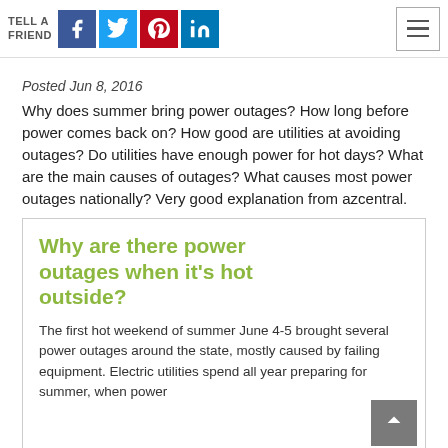TELL A FRIEND [social icons: Facebook, Twitter, Pinterest, LinkedIn] [menu button]
Posted Jun 8, 2016
Why does summer bring power outages? How long before power comes back on? How good are utilities at avoiding outages? Do utilities have enough power for hot days? What are the main causes of outages? What causes most power outages nationally? Very good explanation from azcentral.
Why are there power outages when it's hot outside?
The first hot weekend of summer June 4-5 brought several power outages around the state, mostly caused by failing equipment. Electric utilities spend all year preparing for summer, when power